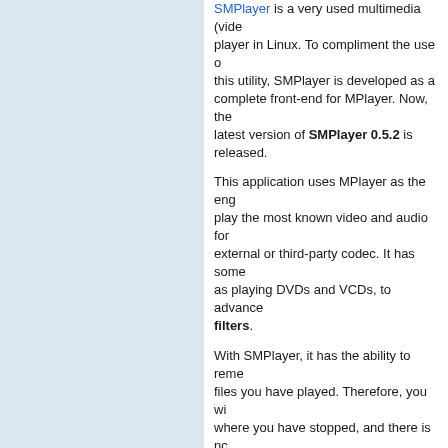SMPlayer is a very used multimedia (video) player in Linux. To compliment the use of this utility, SMPlayer is developed as a complete front-end for MPlayer. Now, the latest version of SMPlayer 0.5.2 is released.
This application uses MPlayer as the engine to play the most known video and audio formats without external or third-party codec. It has some features, such as playing DVDs and VCDs, to advanced video and audio filters.
With SMPlayer, it has the ability to remember all the files you have played. Therefore, you will be able to continue where you have stopped, and there is no need for you to open that movie and configure the settings again like subtitles and volume, etc.
Download Link
SMPlayer 0.5.2 (Windows)
SMPlayer 0.5.2 (Linux)
AVI Resize Tool 1.0
Posted in Fun Stuff, Site News, Utilities, Video
Downsizing or resizing a video file, e.g. AVI file, is almost as easy as